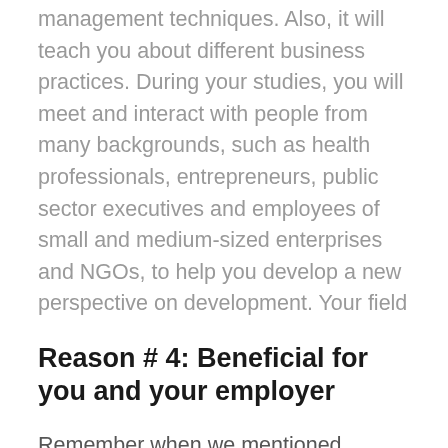management techniques. Also, it will teach you about different business practices. During your studies, you will meet and interact with people from many backgrounds, such as health professionals, entrepreneurs, public sector executives and employees of small and medium-sized enterprises and NGOs, to help you develop a new perspective on development. Your field
Reason # 4: Beneficial for you and your employer
Remember when we mentioned financial support from your employer. You must be wondering why your employer will pay for your education.
Well, the short answer is that it helps them too. An EMBA program will give you holistic business knowledge and teach you the skills to help you solve business problems